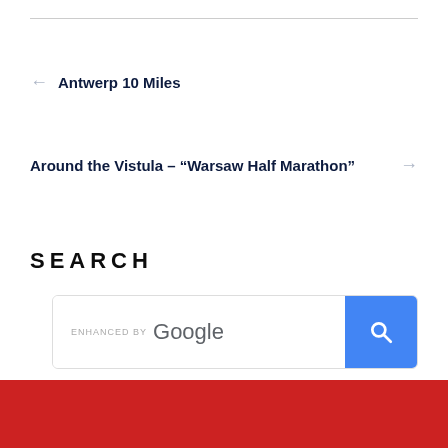← Antwerp 10 Miles
Around the Vistula – "Warsaw Half Marathon" →
SEARCH
[Figure (screenshot): Google search bar with 'ENHANCED BY Google' label and blue search button with magnifying glass icon]